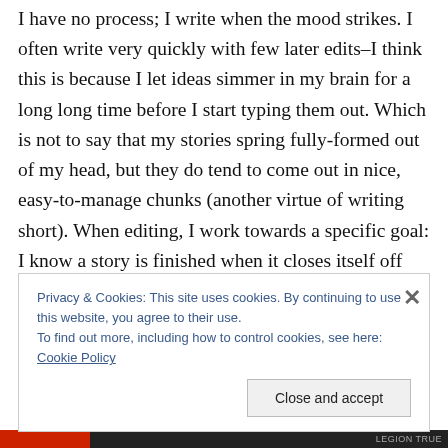I have no process; I write when the mood strikes. I often write very quickly with few later edits–I think this is because I let ideas simmer in my brain for a long long time before I start typing them out. Which is not to say that my stories spring fully-formed out of my head, but they do tend to come out in nice, easy-to-manage chunks (another virtue of writing short). When editing, I work towards a specific goal: I know a story is finished when it closes itself off from me, when I look at it and can see no way back into completely understanding it again. Why does this particular phrase send a chill down my spine, why does
Privacy & Cookies: This site uses cookies. By continuing to use this website, you agree to their use.
To find out more, including how to control cookies, see here: Cookie Policy
Close and accept